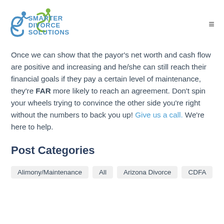Smarter Divorce Solutions
Once we can show that the payor’s net worth and cash flow are positive and increasing and he/she can still reach their financial goals if they pay a certain level of maintenance, they’re FAR more likely to reach an agreement. Don’t spin your wheels trying to convince the other side you’re right without the numbers to back you up! Give us a call. We’re here to help.
Post Categories
Alimony/Maintenance
All
Arizona Divorce
CDFA